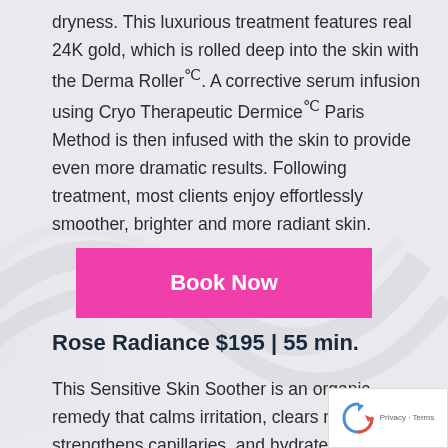dryness. This luxurious treatment features real 24K gold, which is rolled deep into the skin with the Derma Roller℃. A corrective serum infusion using Cryo Therapeutic Dermice℃ Paris Method is then infused with the skin to provide even more dramatic results. Following treatment, most clients enjoy effortlessly smoother, brighter and more radiant skin.
[Figure (other): Pink 'Book Now' button (call-to-action button with hot pink background and white bold text)]
Rose Radiance $195 | 55 min.
This Sensitive Skin Soother is an organic remedy that calms irritation, clears redness, strengthens capillaries, and hydrates, purifies, and oxygenates the skin. This treatment is a great way to improve overall skin tone and texture. Similar to our